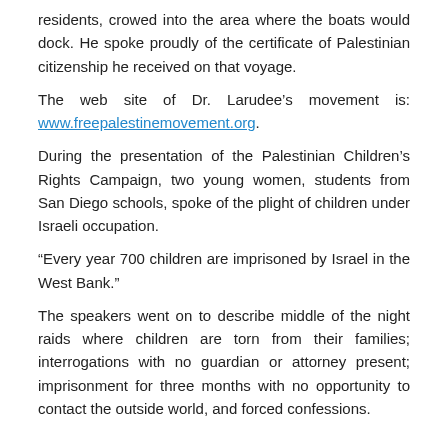residents, crowed into the area where the boats would dock. He spoke proudly of the certificate of Palestinian citizenship he received on that voyage.
The web site of Dr. Larudee’s movement is: www.freepalestinemove​ment.org.
During the presentation of the Palestinian Children’s Rights Campaign, two young women, students from San Diego schools, spoke of the plight of children under Israeli occupation.
“Every year 700 children are imprisoned by Israel in the West Bank.”
The speakers went on to describe middle of the night raids where children are torn from their families; interrogations with no guardian or attorney present; imprisonment for three months with no opportunity to contact the outside world, and forced confessions.